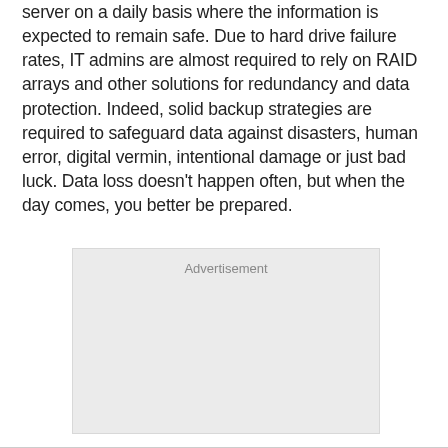server on a daily basis where the information is expected to remain safe. Due to hard drive failure rates, IT admins are almost required to rely on RAID arrays and other solutions for redundancy and data protection. Indeed, solid backup strategies are required to safeguard data against disasters, human error, digital vermin, intentional damage or just bad luck. Data loss doesn't happen often, but when the day comes, you better be prepared.
[Figure (other): Advertisement placeholder box with light gray background]